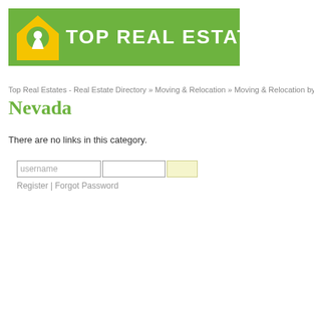[Figure (logo): Top Real Estates logo with green banner, house icon in yellow and white, and bold white text reading TOP REAL ESTATES]
Top Real Estates - Real Estate Directory » Moving & Relocation » Moving & Relocation by Nevada
Nevada
There are no links in this category.
username [input field] [password field] [login button] Register | Forgot Password